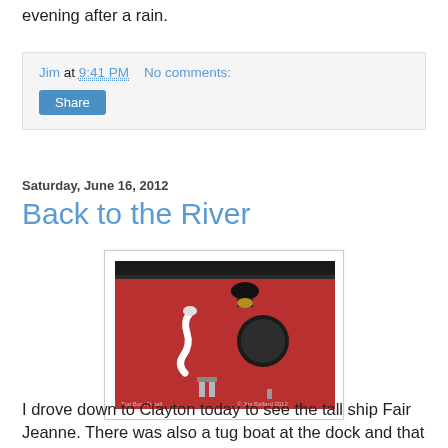evening after a rain.
Jim at 9:41 PM   No comments:
Share
Saturday, June 16, 2012
Back to the River
[Figure (photo): Red wall of a tug boat with a porthole, a lamp/light fixture, and a white flexible tube/hose attachment. Watermarks read 'Tug Boat Detail' (lower left) and '© Jim Ballard 2012' (lower right).]
I drove down to Clayton today to see the tall ship Fair Jeanne. There was also a tug boat at the dock and that